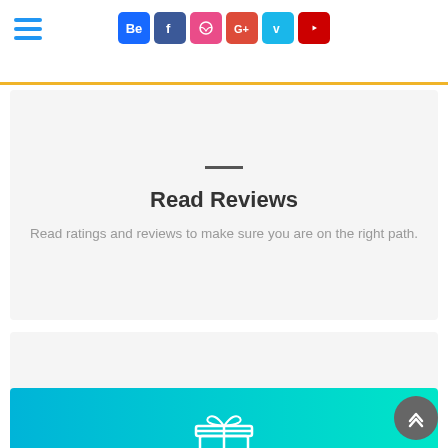Navigation header with hamburger menu and social icons: Behance, Facebook, Dribbble, Google+, Vimeo, YouTube
Read Reviews
Read ratings and reviews to make sure you are on the right path.
[Figure (illustration): Store/shop building icon - outline style illustration of a market stall or small shop]
Multiple Stores
Check price from multiple stores for a better shopping experience.
[Figure (illustration): Gift box icon in white outline on gradient blue-cyan background]
Enjoy Result